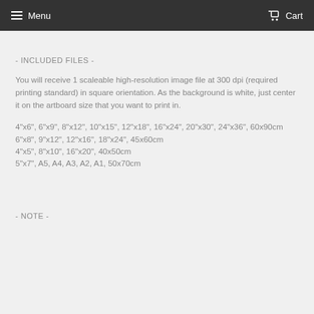Menu   Cart
- INCLUDED FILES -
You will receive 1 scaleable high-resolution image file at 300 dpi (required printing standard) in square orientation. As the background is white, just center it on the artboard size that you want to print in.
4"x6", 6"x9", 8"x12", 10"x15", 12"x18", 16"x24", 20"x30", 24"x36", 60x90cm
6"x8", 9"x12", 12"x16", 18"x24", 45x60cm
4"x5", 8"x10", 16"x20", 40x50cm
5"x7", A5, A4, A3, A2, A1, 50x70cm
- NOTE -